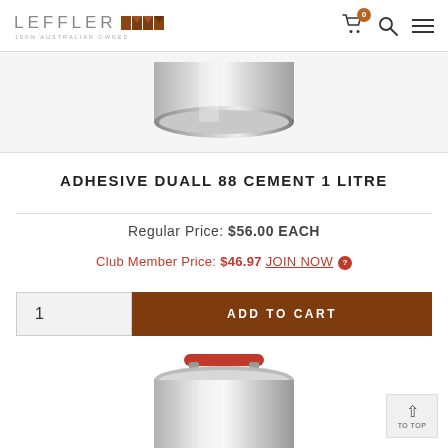LEFFLER 100% AUSTRALIAN OWNED
[Figure (photo): Bottom portion of a stainless steel container/can product against white background]
ADHESIVE DUALL 88 CEMENT 1 LITRE
Regular Price: $56.00 EACH
Club Member Price: $46.97 JOIN NOW ?
1  ADD TO CART
[Figure (photo): Top portion of another product with red handle visible at bottom of page]